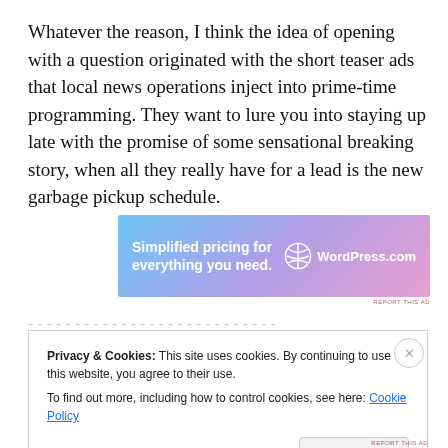Whatever the reason, I think the idea of opening with a question originated with the short teaser ads that local news operations inject into prime-time programming. They want to lure you into staying up late with the promise of some sensational breaking story, when all they really have for a lead is the new garbage pickup schedule.
[Figure (other): WordPress.com advertisement banner with gradient blue-purple-pink background. Text reads 'Simplified pricing for everything you need.' with WordPress.com logo.]
Privacy & Cookies: This site uses cookies. By continuing to use this website, you agree to their use. To find out more, including how to control cookies, see here: Cookie Policy